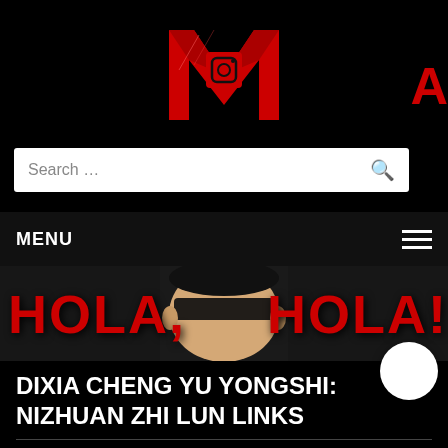[Figure (logo): Large red metallic letter M logo with Instagram icon overlay in center; partial red letter A visible at top right]
Search ...
MENU
[Figure (illustration): Banner image showing anime character with black mask/blindfold, red text 'HOLA,' on left and 'HOLA!' on right]
DIXIA CHENG YU YONGSHI: NIZHUAN ZHI LUN LINKS
Posted on   by MangaS...